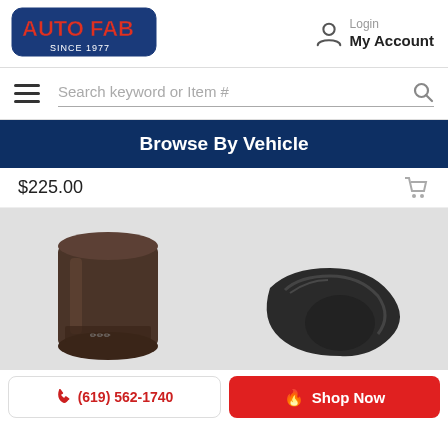[Figure (logo): AutoFab Since 1977 logo — red text with blue outline on white background]
Login
My Account
[Figure (screenshot): Search bar with hamburger menu icon and search keyword or Item # placeholder with magnifying glass icon]
Browse By Vehicle
$225.00
[Figure (photo): Two dark metal automotive parts on a light gray background — a cylindrical sleeve/coupling on the left and an elbow/connector piece on the right]
(619) 562-1740
Shop Now